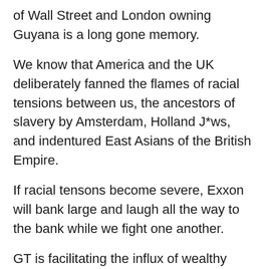of Wall Street and London owning Guyana is a long gone memory.
We know that America and the UK deliberately fanned the flames of racial tensions between us, the ancestors of slavery by Amsterdam, Holland J*ws, and indentured East Asians of the British Empire.
If racial tensons become severe, Exxon will bank large and laugh all the way to the bank while we fight one another.
GT is facilitating the influx of wealthy foreigners by constructing fancy towers, but the average Guyanese, brown or black, is likely to die at GPHC due to lack of funding for healthcare.